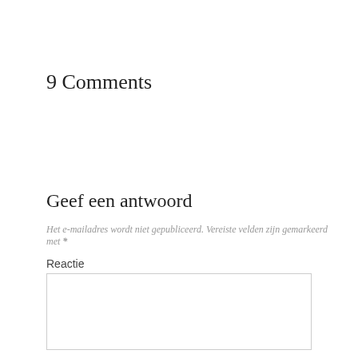9 Comments
Geef een antwoord
Het e-mailadres wordt niet gepubliceerd. Vereiste velden zijn gemarkeerd met *
Reactie